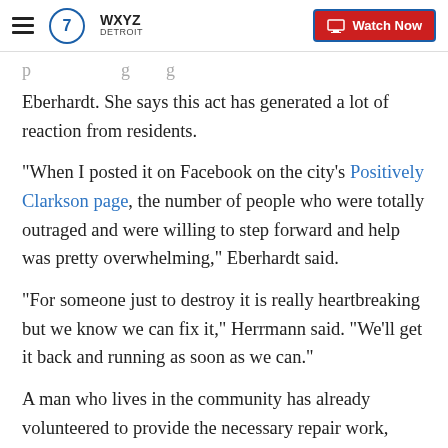WXYZ Detroit — Watch Now
Eberhardt. She says this act has generated a lot of reaction from residents.
"When I posted it on Facebook on the city's Positively Clarkson page, the number of people who were totally outraged and were willing to step forward and help was pretty overwhelming," Eberhardt said.
"For someone just to destroy it is really heartbreaking but we know we can fix it," Herrmann said. "We'll get it back and running as soon as we can."
A man who lives in the community has already volunteered to provide the necessary repair work, according to Herrmann.